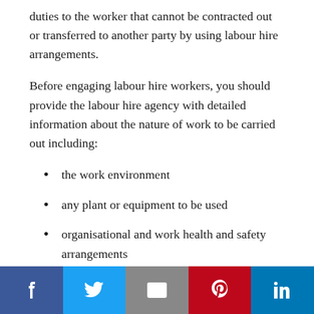duties to the worker that cannot be contracted out or transferred to another party by using labour hire arrangements.
Before engaging labour hire workers, you should provide the labour hire agency with detailed information about the nature of work to be carried out including:
the work environment
any plant or equipment to be used
organisational and work health and safety arrangements
Social share bar: Facebook, Twitter, Email, Pinterest, LinkedIn